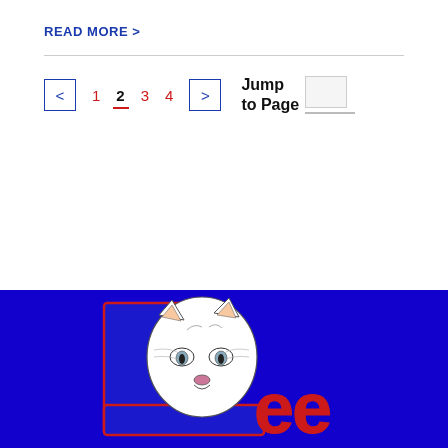READ MORE >
< 1 2 3 4 > Jump to Page
[Figure (logo): Lee school logo with large blue letter L, a wildcat face overlaid, and red text 'ee' forming the word LEE, on a blue background]